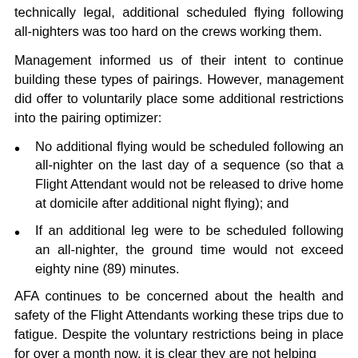technically legal, additional scheduled flying following all-nighters was too hard on the crews working them.
Management informed us of their intent to continue building these types of pairings. However, management did offer to voluntarily place some additional restrictions into the pairing optimizer:
No additional flying would be scheduled following an all-nighter on the last day of a sequence (so that a Flight Attendant would not be released to drive home at domicile after additional night flying); and
If an additional leg were to be scheduled following an all-nighter, the ground time would not exceed eighty nine (89) minutes.
AFA continues to be concerned about the health and safety of the Flight Attendants working these trips due to fatigue. Despite the voluntary restrictions being in place for over a month now, it is clear they are not helping